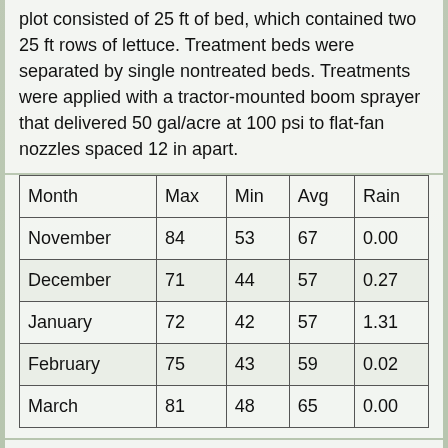plot consisted of 25 ft of bed, which contained two 25 ft rows of lettuce. Treatment beds were separated by single nontreated beds. Treatments were applied with a tractor-mounted boom sprayer that delivered 50 gal/acre at 100 psi to flat-fan nozzles spaced 12 in apart.
| Month | Max | Min | Avg | Rain |
| --- | --- | --- | --- | --- |
| November | 84 | 53 | 67 | 0.00 |
| December | 71 | 44 | 57 | 0.27 |
| January | 72 | 42 | 57 | 1.31 |
| February | 75 | 43 | 59 | 0.02 |
| March | 81 | 48 | 65 | 0.00 |
Powdery mildew (caused by Golovinomyces cichoracearum) efficacy trial treatments were made on January 10th, January 25th, and February 1st 2008.